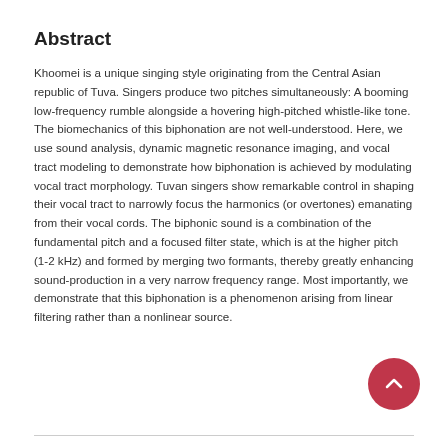Abstract
Khoomei is a unique singing style originating from the Central Asian republic of Tuva. Singers produce two pitches simultaneously: A booming low-frequency rumble alongside a hovering high-pitched whistle-like tone. The biomechanics of this biphonation are not well-understood. Here, we use sound analysis, dynamic magnetic resonance imaging, and vocal tract modeling to demonstrate how biphonation is achieved by modulating vocal tract morphology. Tuvan singers show remarkable control in shaping their vocal tract to narrowly focus the harmonics (or overtones) emanating from their vocal cords. The biphonic sound is a combination of the fundamental pitch and a focused filter state, which is at the higher pitch (1-2 kHz) and formed by merging two formants, thereby greatly enhancing sound-production in a very narrow frequency range. Most importantly, we demonstrate that this biphonation is a phenomenon arising from linear filtering rather than a nonlinear source.